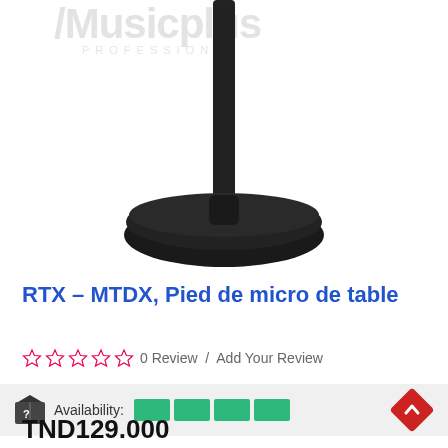[Figure (photo): Close-up photo of a black microphone table stand base with vertical pole, on white background. Watermark logo 'Musicplus PROFESSIONAL' visible at top.]
RTX - MTDX, Pied de micro de table
☆ ☆ ☆ ☆ ☆  0 Review  / Add Your Review
Availability: [4 green blocks]
TND129.000